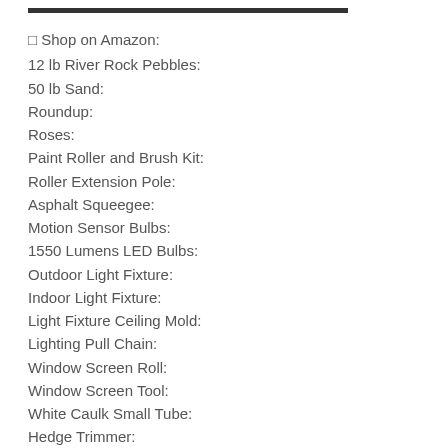🔲 Shop on Amazon:
12 lb River Rock Pebbles:
50 lb Sand:
Roundup:
Roses:
Paint Roller and Brush Kit:
Roller Extension Pole:
Asphalt Squeegee:
Motion Sensor Bulbs:
1550 Lumens LED Bulbs:
Outdoor Light Fixture:
Indoor Light Fixture:
Light Fixture Ceiling Mold:
Lighting Pull Chain:
Window Screen Roll:
Window Screen Tool:
White Caulk Small Tube:
Hedge Trimmer: